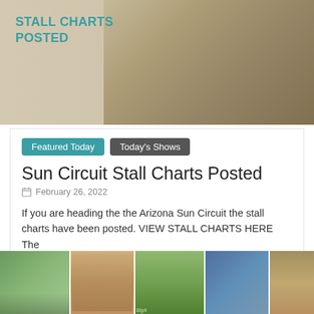[Figure (photo): Banner image showing stall charts posted text over a tan/beige background with horse photo]
STALL CHARTS POSTED
Featured Today
Today's Shows
Sun Circuit Stall Charts Posted
February 26, 2022
If you are heading the the Arizona Sun Circuit the stall charts have been posted. VIEW STALL CHARTS HERE The
Read more
[Figure (photo): Collage of horse show photos at the bottom of the page showing multiple equestrian scenes]